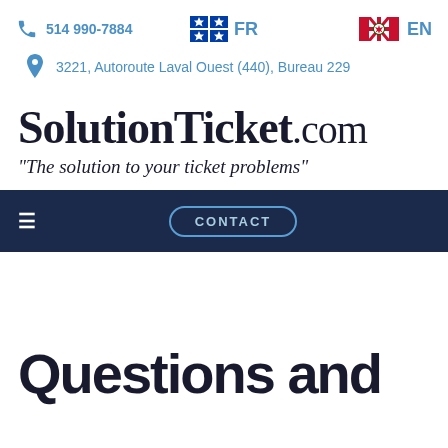514 990-7884  |  FR  |  EN
3221, Autoroute Laval Ouest (440), Bureau 229
SolutionTicket.com
"The solution to your ticket problems"
[Figure (screenshot): Navigation bar with hamburger menu and CONTACT button on dark navy background]
Questions and